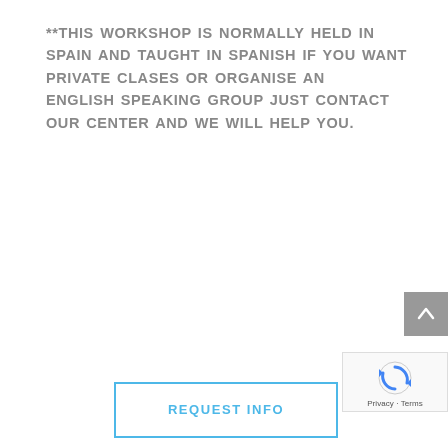**THIS WORKSHOP IS NORMALLY HELD IN SPAIN AND TAUGHT IN SPANISH IF YOU WANT PRIVATE CLASES OR ORGANISE AN ENGLISH SPEAKING GROUP JUST CONTACT OUR CENTER AND WE WILL HELP YOU.
[Figure (other): Scroll-to-top button, grey square with upward chevron arrow]
[Figure (other): reCAPTCHA badge with Google reCAPTCHA logo and Privacy - Terms text]
REQUEST INFO